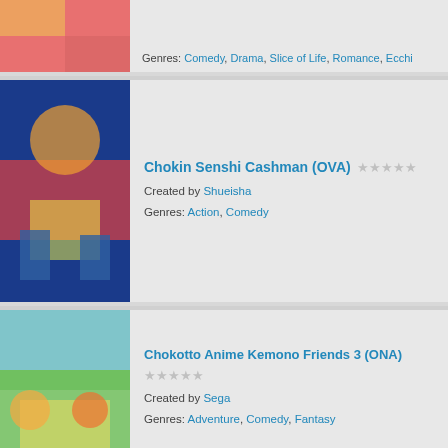Genres: Comedy, Drama, Slice of Life, Romance, Ecchi
Chokin Senshi Cashman (OVA) ★★★★★
Created by Shueisha
Genres: Action, Comedy
Chokotto Anime Kemono Friends 3 (ONA) ★★★★★
Created by Sega
Genres: Adventure, Comedy, Fantasy
Choriki Robo Galatt (TV) ★★★★★
Created by Hajime Yatate
Genres: Action, Adventure, Comedy, Science Fiction
Chou Futsuu Toshi Kashiwa Densetsu R (TV) ★★★★★
Created by Shinya Murai
Genres: Comedy, Fantasy
Chou Kadou Girl ⅙: Amazing Stranger (TV) ★★★★★
Created by Studio A-CAT
Genres: Comedy, Romance